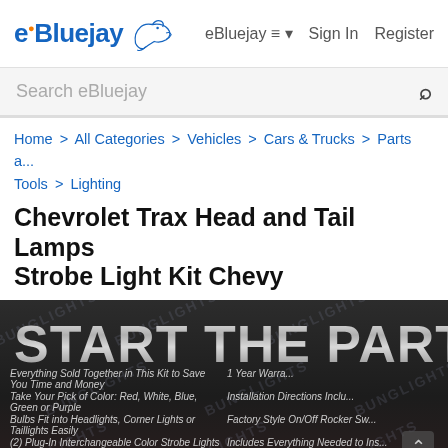eBluejay  eBluejay ≡ ▾  Sign In  Register
Search eBluejay
Home > All Categories > Vehicles > Cars & Trucks > Parts & Tools > Lighting
Chevrolet Trax Head and Tail Lamps Strobe Light Kit Chevy
[Figure (photo): Product promotional image with 'START THE PARTY' text in large chrome letters on dark background with BUNGLIGHTS watermark. Below are feature bullet points: Everything Sold Together in This Kit to Save You Time and Money; Take Your Pick of Color: Red, White, Blue, Green or Purple; Bulbs Fit into Headlights, Corner Lights or Taillights Easily; (2) Plug-In Interchangeable Color Strobe Lights; Dash Mount Adjustable Strobe Speed Controller; 1 Year Warranty (truncated); Installation Directions Included (truncated); Factory Style On/Off Rocker Switch (truncated); Includes Everything Needed to Install (truncated)]